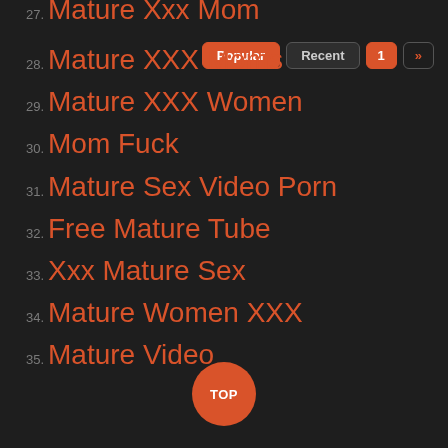27. Mature Xxx Mom
28. Mature XXX Moms
29. Mature XXX Women
30. Mom Fuck
31. Mature Sex Video Porn
32. Free Mature Tube
33. Xxx Mature Sex
34. Mature Women XXX
35. Mature Video
Popular | Recent | 1 | »
TOP